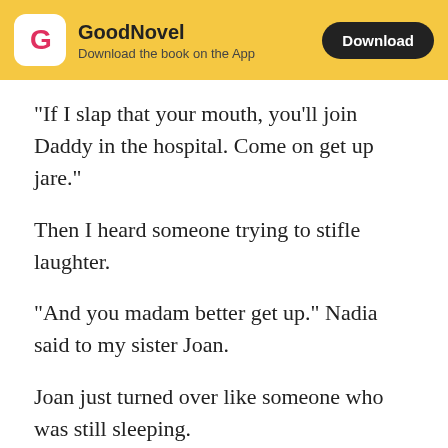GoodNovel — Download the book on the App — Download
"If I slap that your mouth, you'll join Daddy in the hospital. Come on get up jare."
Then I heard someone trying to stifle laughter.
"And you madam better get up." Nadia said to my sister Joan.
Joan just turned over like someone who was still sleeping.
"Keep behaving  like an imbecile there, as I'm